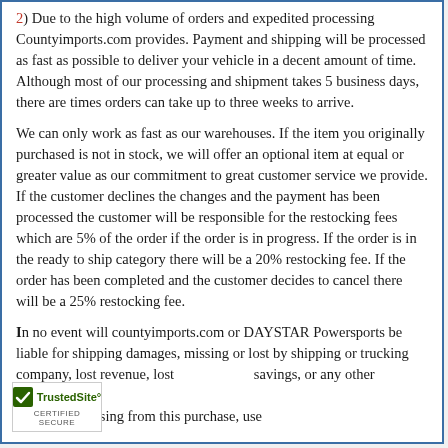2) Due to the high volume of orders and expedited processing Countyimports.com provides. Payment and shipping will be processed as fast as possible to deliver your vehicle in a decent amount of time. Although most of our processing and shipment takes 5 business days, there are times orders can take up to three weeks to arrive.
We can only work as fast as our warehouses. If the item you originally purchased is not in stock, we will offer an optional item at equal or greater value as our commitment to great customer service we provide. If the customer declines the changes and the payment has been processed the customer will be responsible for the restocking fees which are 5% of the order if the order is in progress. If the order is in the ready to ship category there will be a 20% restocking fee. If the order has been completed and the customer decides to cancel there will be a 25% restocking fee.
In no event will countyimports.com or DAYSTAR Powersports be liable for shipping damages, missing or lost by shipping or trucking company, lost revenue, lost savings, or any other incidental or al damages arising from this purchase, use